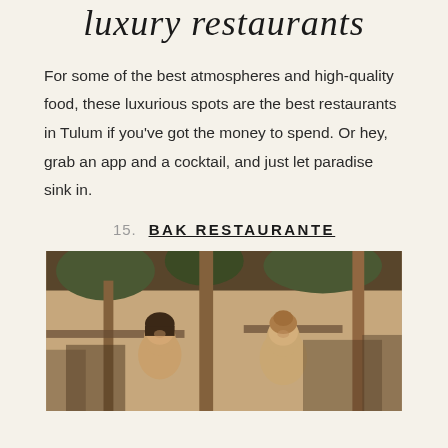luxury restaurants
For some of the best atmospheres and high-quality food, these luxurious spots are the best restaurants in Tulum if you've got the money to spend. Or hey, grab an app and a cocktail, and just let paradise sink in.
15. BAK RESTAURANTE
[Figure (photo): Two women smiling and seated at a restaurant table in Bak Restaurante, an open-air dining space with trees and ambient lighting in Tulum]